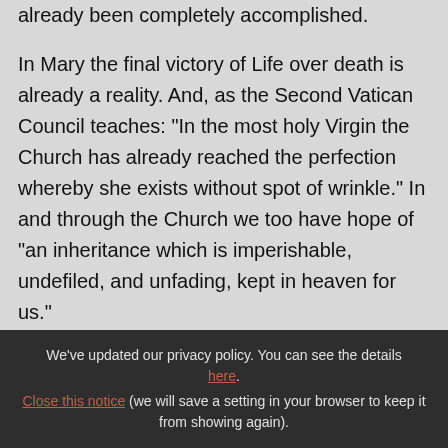already been completely accomplished.

In Mary the final victory of Life over death is already a reality. And, as the Second Vatican Council teaches: "In the most holy Virgin the Church has already reached the perfection whereby she exists without spot of wrinkle." In and through the Church we too have hope of "an inheritance which is imperishable, undefiled, and unfading, kept in heaven for us."
We've updated our privacy policy. You can see the details here. Close this notice (we will save a setting in your browser to keep it from showing again).